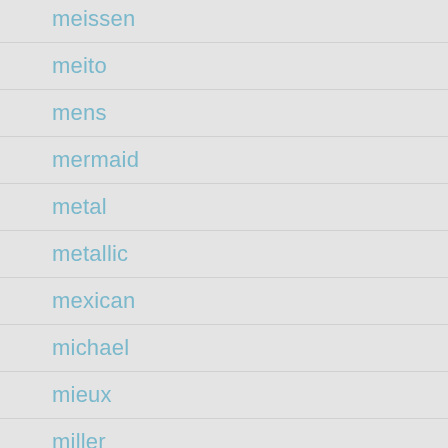meissen
meito
mens
mermaid
metal
metallic
mexican
michael
mieux
miller
million
mind
miniature